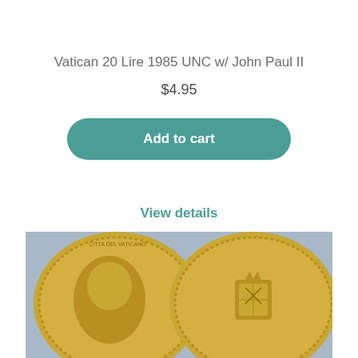Vatican 20 Lire 1985 UNC w/ John Paul II
$4.95
Add to cart
View details
[Figure (photo): Photo showing two sides of a gold-colored coin (Vatican 20 Lire 1985) against a blue-gray background. Left side shows the obverse with a portrait profile, right side shows the reverse with a coat of arms.]